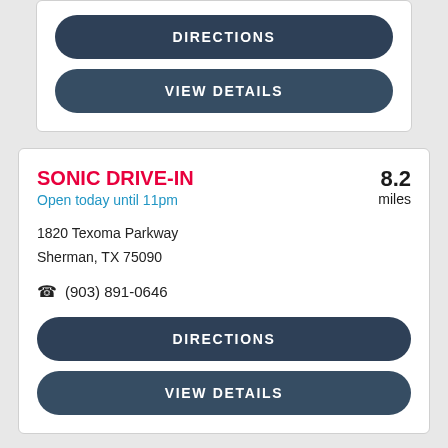DIRECTIONS
VIEW DETAILS
SONIC DRIVE-IN
Open today until 11pm
8.2 miles
1820 Texoma Parkway
Sherman, TX 75090
(903) 891-0646
DIRECTIONS
VIEW DETAILS